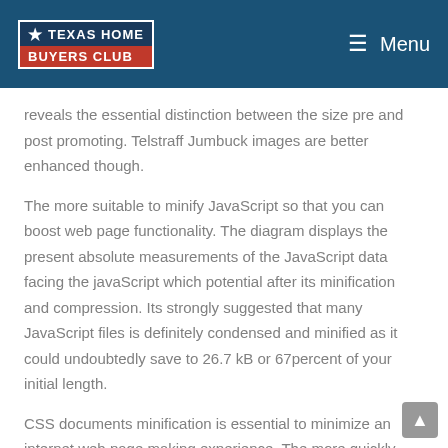[Figure (logo): Texas Home Buyers Club logo with star, blue and red colors, white text]
≡ Menu
reveals the essential distinction between the size pre and post promoting. Telstraff Jumbuck images are better enhanced though.
The more suitable to minify JavaScript so that you can boost web page functionality. The diagram displays the present absolute measurements of the JavaScript data facing the javaScript which potential after its minification and compression. Its strongly suggested that many JavaScript files is definitely condensed and minified as it could undoubtedly save to 26.7 kB or 67percent of your initial length.
CSS documents minification is essential to minimize an internet web page making experience. The more quickly CSS files can weight, the quicker a web site webpage was rendered.